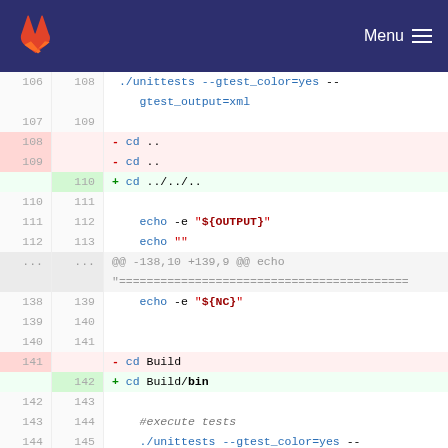[Figure (screenshot): GitLab navigation header with orange fox logo and Menu hamburger button on dark blue background]
Code diff view showing changes to a shell script. Lines 106-145 shown with old/new line numbers and +/- indicators. Changes include: replacing two 'cd ..' lines with 'cd ../../..', replacing 'cd Build' with 'cd Build/bin'. Context lines show echo commands, #execute tests comment, and ./unittests invocation.